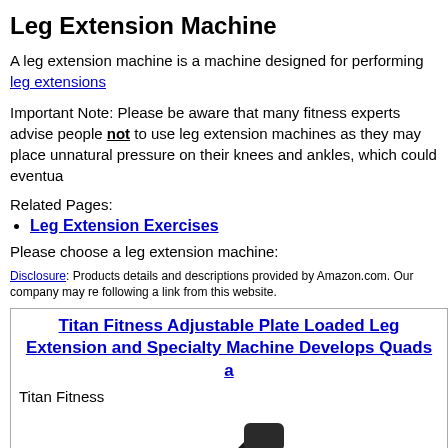Leg Extension Machine
A leg extension machine is a machine designed for performing leg extensions
Important Note: Please be aware that many fitness experts advise people not to use leg extension machines as they may place unnatural pressure on their knees and ankles, which could eventua...
Related Pages:
Leg Extension Exercises
Please choose a leg extension machine:
Disclosure: Products details and descriptions provided by Amazon.com. Our company may re... following a link from this website.
Titan Fitness Adjustable Plate Loaded Leg Extension and Specialty Machine Develops Quads a...
Titan Fitness
[Figure (photo): Photo of a black Titan Fitness adjustable plate loaded leg extension machine]